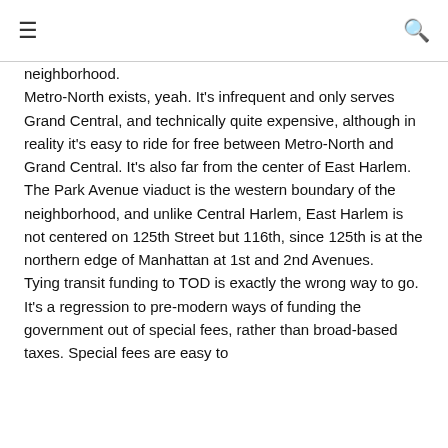≡  🔍
neighborhood.
Metro-North exists, yeah. It's infrequent and only serves Grand Central, and technically quite expensive, although in reality it's easy to ride for free between Metro-North and Grand Central. It's also far from the center of East Harlem. The Park Avenue viaduct is the western boundary of the neighborhood, and unlike Central Harlem, East Harlem is not centered on 125th Street but 116th, since 125th is at the northern edge of Manhattan at 1st and 2nd Avenues.
Tying transit funding to TOD is exactly the wrong way to go. It's a regression to pre-modern ways of funding the government out of special fees, rather than broad-based taxes. Special fees are easy to